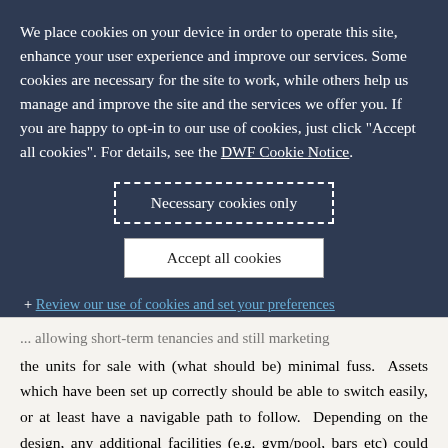We place cookies on your device in order to operate this site, enhance your user experience and improve our services. Some cookies are necessary for the site to work, while others help us manage and improve the site and the services we offer you. If you are happy to opt-in to our use of cookies, just click "Accept all cookies". For details, see the DWF Cookie Notice.
Necessary cookies only
Accept all cookies
+ Review our use of cookies and set your preferences
... allowing short-term tenancies and still marketing the units for sale with (what should be) minimal fuss. Assets which have been set up correctly should be able to switch easily, or at least have a navigable path to follow. Depending on the design, any additional facilities (e.g. gym/pool, bars etc) could either be spun-off and let